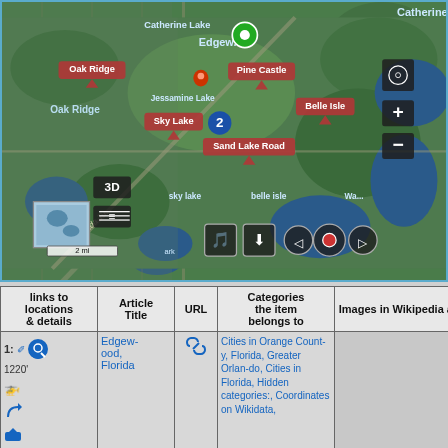[Figure (map): Satellite map of the Orlando/Edgewood/Belle Isle area in Florida with place label bubbles (Oak Ridge, Sky Lake, Pine Castle, Belle Isle, Jessamine Lake, Sand Lake Road, Edgewood), a location pin, blue circle marker labeled '2', 3D/layers buttons, map controls, minimap inset, and scale bar showing 2 mi.]
| links to locations & details | Article Title | URL | Categories the item belongs to | Images in Wikipedia artic... |
| --- | --- | --- | --- | --- |
| 1: [icons] 1220' | Edgewood, Florida | [link icon] | Cities in Orange County, Florida, Greater Orlando, Cities in Florida, Hidden categories:, Coordinates on Wikidata, |  |